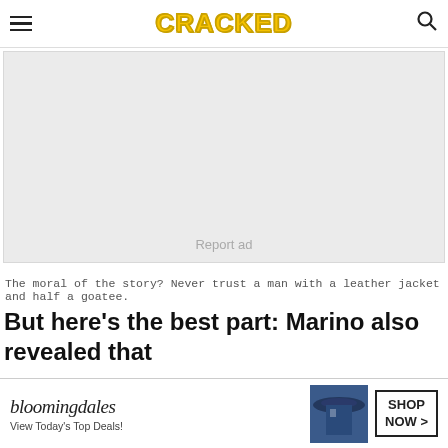CRACKED
[Figure (other): Gray advertisement placeholder box with 'Report ad' text]
The moral of the story? Never trust a man with a leather jacket and half a goatee.
But here's the best part: Marino also revealed that Butler was reselling drugs confiscated from busts done
[Figure (other): Bloomingdale's advertisement banner with model wearing hat, 'View Today's Top Deals!' and SHOP NOW > button]